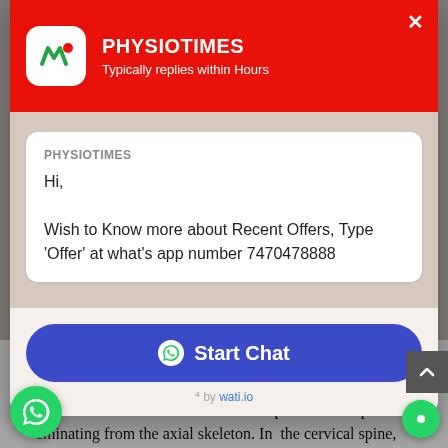[Figure (screenshot): WhatsApp chat widget popup overlay from PHYSIOTIMES. Red header with logo, message bubble with greeting and WhatsApp number, and Start Chat button.]
RUSSELL WOODMAN
SNAGS is an acronym for "sustained natural apophyseal glides and is a useful treatment for selected patients with pain eminating from the axial skeleton. In the cervical spine,